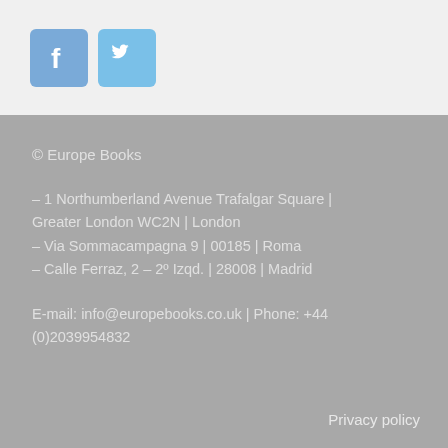[Figure (logo): Facebook and Twitter social media icons (rounded square buttons in blue)]
© Europe Books
– 1 Northumberland Avenue Trafalgar Square | Greater London WC2N | London
– Via Sommacampagna 9 | 00185 | Roma
– Calle Ferraz, 2 – 2º Izqd. | 28008 | Madrid
E-mail: info@europebooks.co.uk | Phone: +44 (0)2039954832
Privacy policy